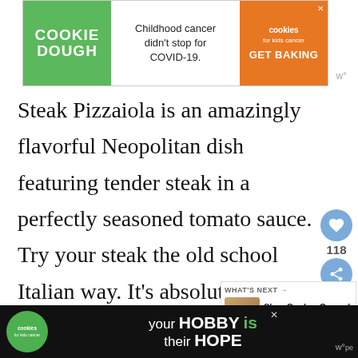[Figure (screenshot): Cookie Dough ad banner — green section with 'COOKIE DOUGH' text, white section with 'Childhood cancer didn't stop for COVID-19.', orange section with 'cookies for kids cancer GET BAKING' and X close button]
Steak Pizzaiola is an amazingly flavorful Neopolitan dish featuring tender steak in a perfectly seasoned tomato sauce.  Try your steak the old school Italian way. It's absolutely delicious, and every bite you will make two to heavenly skies.
[Figure (screenshot): Bottom ad banner — black background with cookies for kids cancer logo, 'your HOBBY is their HOPE' text, and watermark]